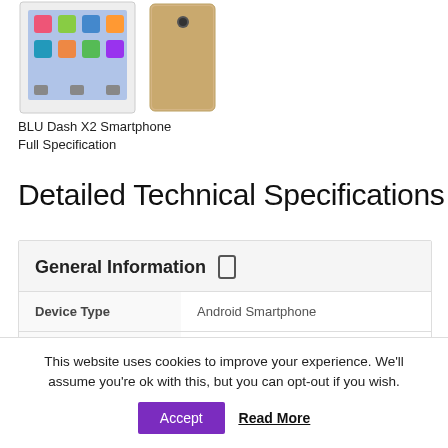[Figure (photo): Product photos of BLU Dash X2 Smartphone showing front screen view and side/back view in gold color]
BLU Dash X2 Smartphone Full Specification
Detailed Technical Specifications
|  |  |
| --- | --- |
| Device Type | Android Smartphone |
| Brand & Model | BLU Life XL 4G |
| Device Proclamation | 11 January, 2016 |
This website uses cookies to improve your experience. We'll assume you're ok with this, but you can opt-out if you wish.